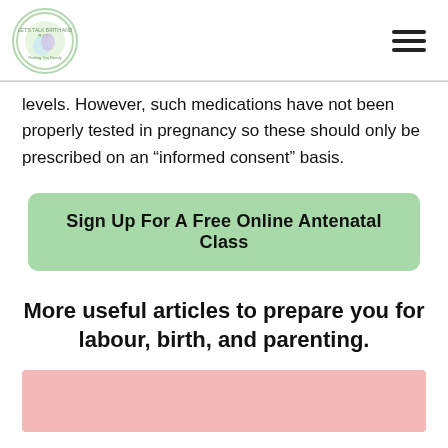Let's Talk Birth and Baby - Getting You Ready
levels. However, such medications have not been properly tested in pregnancy so these should only be prescribed on an “informed consent” basis.
Sign Up For A Free Online Antenatal Class
More useful articles to prepare you for labour, birth, and parenting.
[Figure (photo): Pink background image area at the bottom of the page]